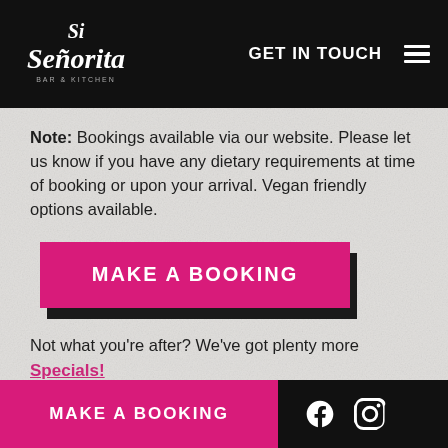Si Señorita Bar & Kitchen — GET IN TOUCH [menu]
Note: Bookings available via our website. Please let us know if you have any dietary requirements at time of booking or upon your arrival. Vegan friendly options available.
[Figure (other): Pink 'MAKE A BOOKING' button with dark shadow offset]
Not what you're after? We've got plenty more
Specials!
MAKE A BOOKING [Facebook icon] [Instagram icon]